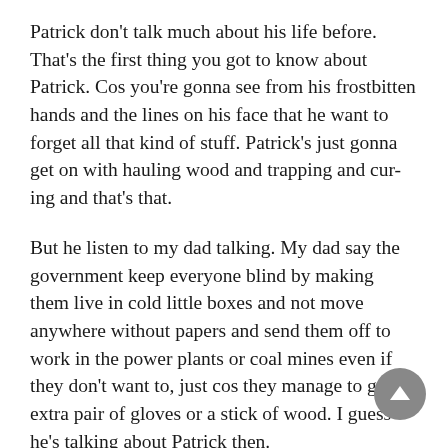Patrick don't talk much about his life before. That's the first thing you got to know about Patrick. Cos you're gonna see from his frostbitten hands and the lines on his face that he want to forget all that kind of stuff. Patrick's just gonna get on with hauling wood and trapping and cur- ing and that's that.
But he listen to my dad talking. My dad say the government keep everyone blind by making them live in cold little boxes and not move anywhere without papers and send them off to work in the power plants or coal mines even if they don't want to, just cos they manage to get an extra pair of gloves or a stick of wood. I guess he's talking about Patrick then.
One time I hear Patrick say that after all the troubles, when lots of people die—government got even more control then and people start getting angry and my dad